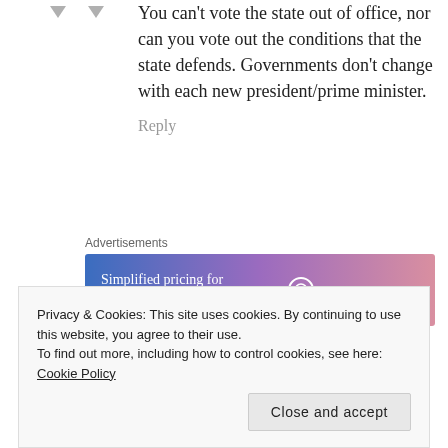You can't vote the state out of office, nor can you vote out the conditions that the state defends. Governments don't change with each new president/prime minister.
Reply
Advertisements
[Figure (infographic): WordPress.com advertisement banner: 'Simplified pricing for everything you need.' with WordPress.com logo on a blue-to-pink gradient background.]
georgegordy says:
Privacy & Cookies: This site uses cookies. By continuing to use this website, you agree to their use.
To find out more, including how to control cookies, see here: Cookie Policy
Close and accept